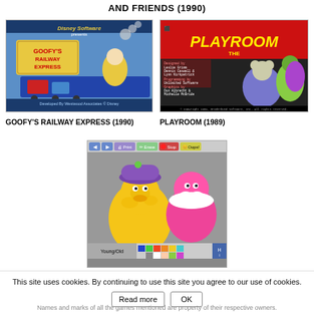AND FRIENDS (1990)
[Figure (screenshot): Goofy's Railway Express game cover showing Disney Software branding with Goofy on a train, developed by Westwood Associates]
GOOFY'S RAILWAY EXPRESS (1990)
[Figure (screenshot): The Playroom game cover showing a mouse character and dinosaurs]
PLAYROOM (1989)
[Figure (screenshot): Sesame Street: Opposites Attract game screenshot showing Big Bird and another muppet character with coloring interface]
SESAME STREET: OPPOSITES ATTRACT (1987)
This site uses cookies. By continuing to use this site you agree to our use of cookies.
Names and marks of all the games mentioned are property of their respective owners.